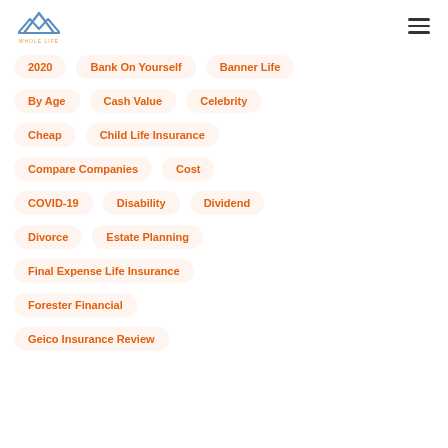[Figure (logo): Whole Life insurance website logo with mountain graphic and text WHOLE LIFE]
2020
Bank On Yourself
Banner Life
By Age
Cash Value
Celebrity
Cheap
Child Life Insurance
Compare Companies
Cost
COVID-19
Disability
Dividend
Divorce
Estate Planning
Final Expense Life Insurance
Forester Financial
Geico Insurance Review